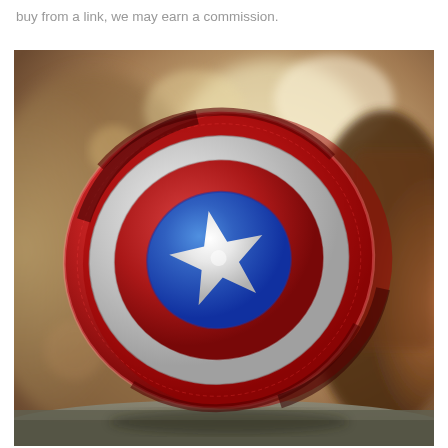buy from a link, we may earn a commission.
[Figure (photo): A Captain America shield spinner/fidget toy or replica, red, silver/white and blue concentric circles with a silver star in the center, photographed at an angle on a rocky surface with a blurred rock background.]